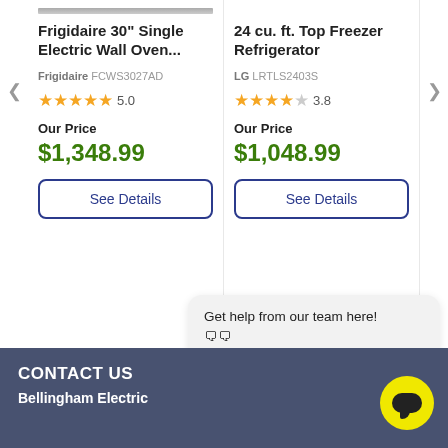Frigidaire 30" Single Electric Wall Oven...
Frigidaire FCWS3027AD
★★★★★ 5.0
Our Price
$1,348.99
See Details
24 cu. ft. Top Freezer Refrigerator
LG LRTLS2403S
★★★★☆ 3.8
Our Price
$1,048.99
See Details
Get help from our team here!
🗨🗨
CONTACT US
Bellingham Electric